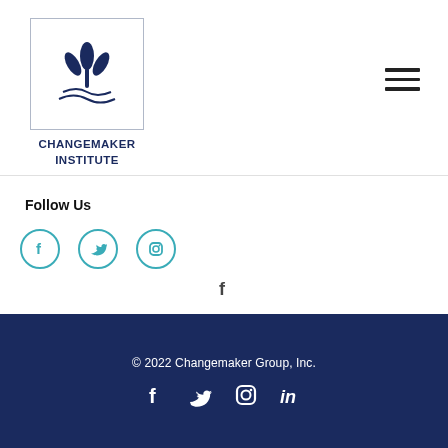[Figure (logo): Changemaker Institute logo: blue plant/wheat icon inside a bordered rectangle, with text CHANGEMAKER INSTITUTE below]
[Figure (other): Hamburger menu icon (three horizontal lines)]
Follow Us
[Figure (other): Social media icons: Facebook, Twitter, Instagram (teal/outlined circles)]
[Figure (other): Social media icon: Facebook (centered, no circle)]
© 2022 Changemaker Group, Inc.
[Figure (other): Footer social media icons: Facebook, Twitter, Instagram, LinkedIn (white icons)]